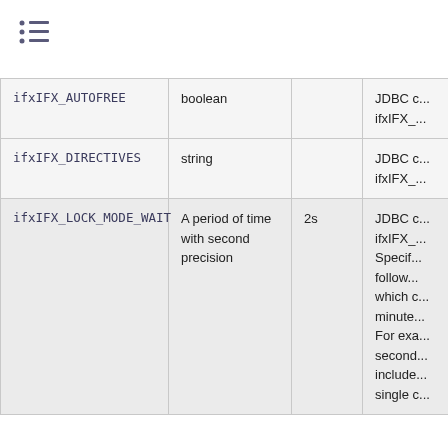≡ (list/menu icon)
| Property | Type | Default | Description |
| --- | --- | --- | --- |
| ifxIFX_AUTOFREE | boolean |  | JDBC c... ifxIFX_... |
| ifxIFX_DIRECTIVES | string |  | JDBC c... ifxIFX_... |
| ifxIFX_LOCK_MODE_WAIT | A period of time with second precision | 2s | JDBC c... ifxIFX_... Specif... follow... which c... minute... For exa... second... include... single ... |